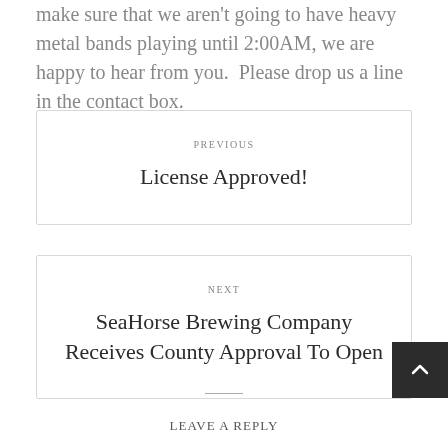make sure that we aren't going to have heavy metal bands playing until 2:00AM, we are happy to hear from you.  Please drop us a line in the contact box.
PREVIOUS
License Approved!
NEXT
SeaHorse Brewing Company Receives County Approval To Open
LEAVE A REPLY